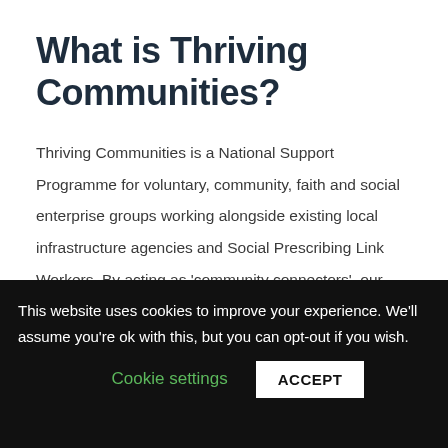What is Thriving Communities?
Thriving Communities is a National Support Programme for voluntary, community, faith and social enterprise groups working alongside existing local infrastructure agencies and Social Prescribing Link Workers. By acting as 'community connectors', our Thriving Communities team aims to provide
This website uses cookies to improve your experience. We'll assume you're ok with this, but you can opt-out if you wish. Cookie settings ACCEPT